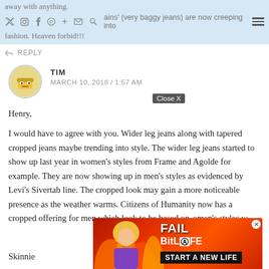away with anything. ch r s, st ains' (very baggy jeans) are now creeping into fashion. Heaven forbid!!!
REPLY
TIM
MARCH 10, 2018 / 1:57 AM
Henry,
I would have to agree with you. Wider leg jeans along with tapered cropped jeans maybe trending into style. The wider leg jeans started to show up last year in women's styles from Frame and Agolde for example. They are now showing up in men's styles as evidenced by Levi's Sivertab line. The cropped look may gain a more noticeable presence as the weather warms. Citizens of Humanity now has a cropped offering for men which look to be based on omen's styles w
Skinnie ge are
[Figure (screenshot): BitLife advertisement overlay with 'FAIL' text and 'START A NEW LIFE' banner, with a Close X button]